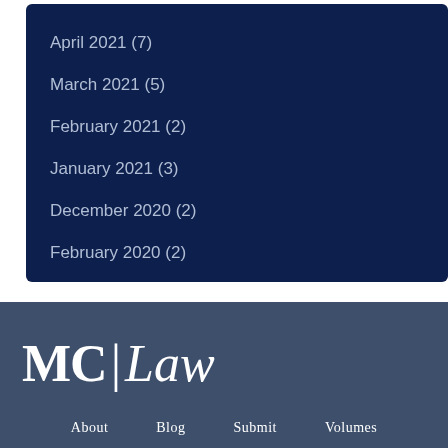April 2021 (7)
March 2021 (5)
February 2021 (2)
January 2021 (3)
December 2020 (2)
February 2020 (2)
[Figure (logo): MC|Law logo in white text on dark blue-grey footer background]
About   Blog   Submit   Volumes